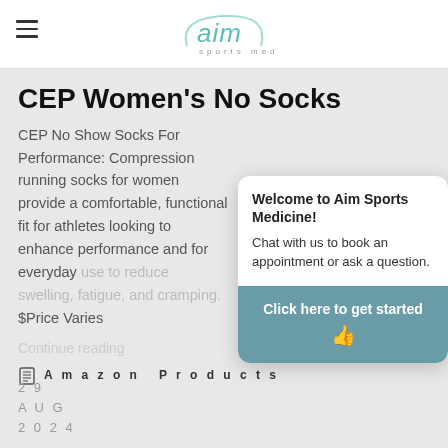aim sports medicine
[Figure (photo): Product image strip showing feet/socks at the top of the page]
CEP Women's No Socks
CEP No Show Socks For Performance: Compression running socks for women provide a comfortable, functional fit for athletes looking to enhance performance and for everyday use to reduce swelling, fatigue, and cramping. $Price Varies
Continue reading
Amazon Products
[Figure (screenshot): Chat popup overlay from Aim Sports Medicine. White bubble reads: 'Welcome to Aim Sports Medicine! Chat with us to book an appointment or ask a question.' Below is a teal button: 'Click here to get started 👍']
29
AUG
2024